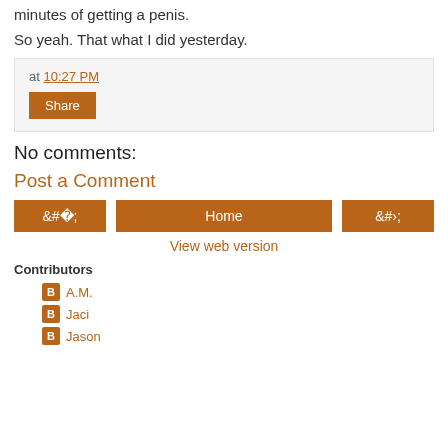minutes of getting a penis.
So yeah. That what I did yesterday.
at 10:27 PM
Share
No comments:
Post a Comment
‹
Home
›
View web version
Contributors
A.M.
Jaci
Jason